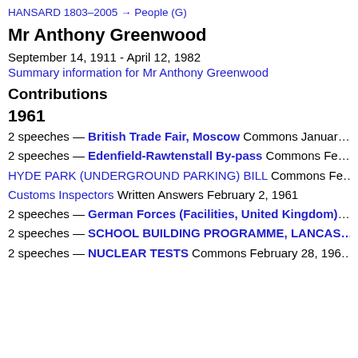HANSARD 1803–2005 → People (G)
Mr Anthony Greenwood
September 14, 1911 - April 12, 1982
Summary information for Mr Anthony Greenwood
Contributions
1961
2 speeches — British Trade Fair, Moscow Commons Januar…
2 speeches — Edenfield-Rawtenstall By-pass Commons Fe…
HYDE PARK (UNDERGROUND PARKING) BILL Commons Fe…
Customs Inspectors Written Answers February 2, 1961
2 speeches — German Forces (Facilities, United Kingdom)…
2 speeches — SCHOOL BUILDING PROGRAMME, LANCAS…
2 speeches — NUCLEAR TESTS Commons February 28, 196…